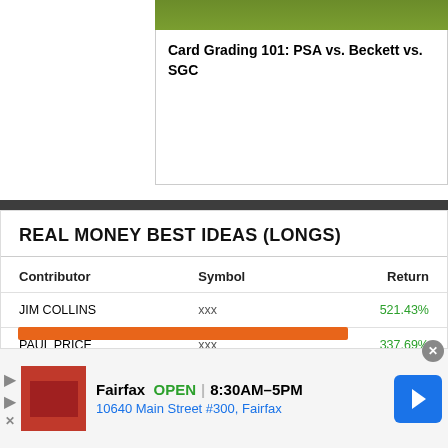[Figure (photo): Green grass/turf background strip at top of a card]
Card Grading 101: PSA vs. Beckett vs. SGC
REAL MONEY BEST IDEAS (LONGS)
| Contributor | Symbol | Return |
| --- | --- | --- |
| JIM COLLINS | xxx | 521.43% |
| PAUL PRICE | xxx | 337.69% |
| PAUL PRICE | xxx | 223.22% |
| PAUL PRICE | xxx | 220.25% |
Fairfax  OPEN  8:30AM–5PM  10640 Main Street #300, Fairfax